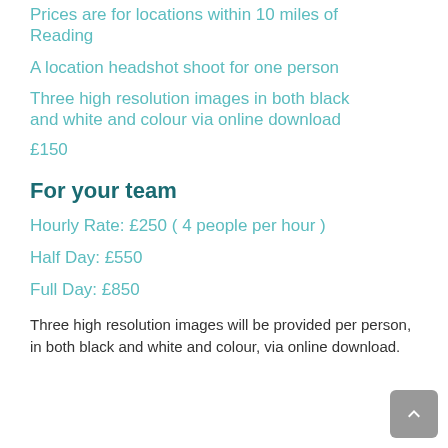Prices are for locations within 10 miles of Reading
A location headshot shoot for one person
Three high resolution images in both black and white and colour via online download
£150
For your team
Hourly Rate: £250 ( 4 people per hour )
Half Day: £550
Full Day: £850
Three high resolution images will be provided per person, in both black and white and colour, via online download.